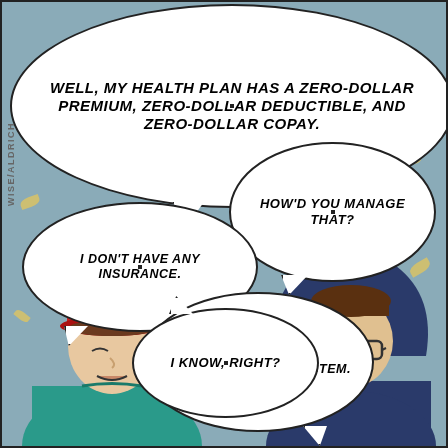[Figure (illustration): A comic strip showing two people outdoors having a conversation via speech bubbles. One person wears a red hat and teal jacket (left), the other wears a blue hoodie and glasses (right). Autumn leaves fall in the background. Speech bubbles read: 'Well, my health plan has a zero-dollar premium, zero-dollar deductible, and zero-dollar copay.' / 'How'd you manage that?' / 'I don't have any insurance.' / 'Boy, you sure outsmarted the system.' / 'I know, right?' Credit: WISE/ALDRICH]